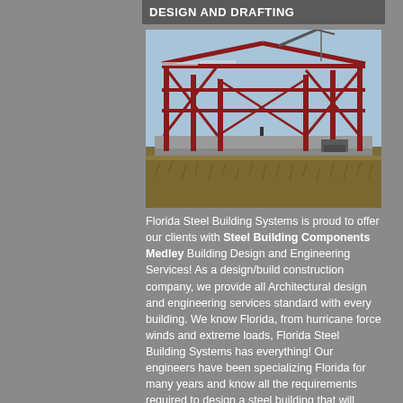DESIGN AND DRAFTING
[Figure (photo): Steel building frame under construction with red steel beams and a crane visible against a blue sky, with dry grass in the foreground.]
Florida Steel Building Systems is proud to offer our clients with Steel Building Components Medley Building Design and Engineering Services! As a design/build construction company, we provide all Architectural design and engineering services standard with every building. We know Florida, from hurricane force winds and extreme loads, Florida Steel Building Systems has everything! Our engineers have been specializing Florida for many years and know all the requirements required to design a steel building that will stand the test of